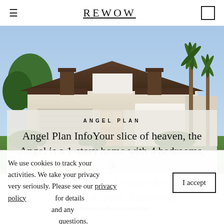REWOW
[Figure (photo): Exterior rendering of a modern single-story home with dark roof, white walls, palm trees, and lush greenery in a sunny setting.]
ANGEL PLAN
Angel Plan InfoYour slice of heaven, the Angel is a 1-story home with 4 bedrooms, 3 bathrooms, and 2,511 square feet of air-conditioned space. Featuring...
Read more about Angel Plan
We use cookies to track your activities. We take your privacy very seriously. Please see our privacy policy for details and any questions.
I accept